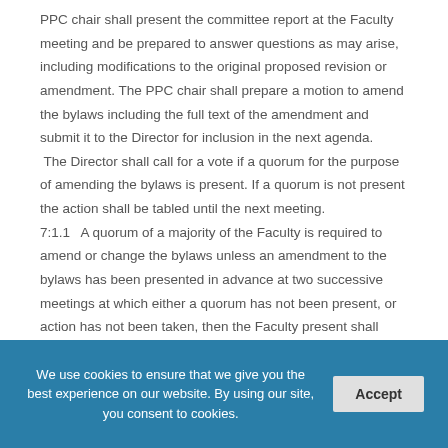PPC chair shall present the committee report at the Faculty meeting and be prepared to answer questions as may arise, including modifications to the original proposed revision or amendment. The PPC chair shall prepare a motion to amend the bylaws including the full text of the amendment and submit it to the Director for inclusion in the next agenda.  The Director shall call for a vote if a quorum for the purpose of amending the bylaws is present. If a quorum is not present the action shall be tabled until the next meeting.
7:1.1   A quorum of a majority of the Faculty is required to amend or change the bylaws unless an amendment to the bylaws has been presented in advance at two successive meetings at which either a quorum has not been present, or action has not been taken, then the Faculty present shall constitute a quorum for the purpose of acting on that
We use cookies to ensure that we give you the best experience on our website. By using our site, you consent to cookies.